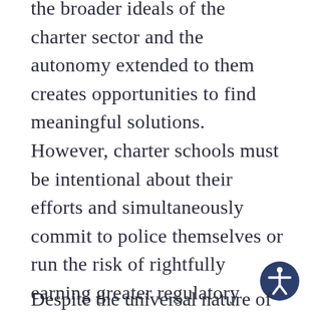the broader ideals of the charter sector and the autonomy extended to them creates opportunities to find meaningful solutions. However, charter schools must be intentional about their efforts and simultaneously commit to police themselves or run the risk of rightfully earning greater regulatory oversight to address bad actors.
[Figure (illustration): Accessibility icon: circular dark blue button with a white stylized human figure in the center, arms outstretched]
Despite the universal nature of